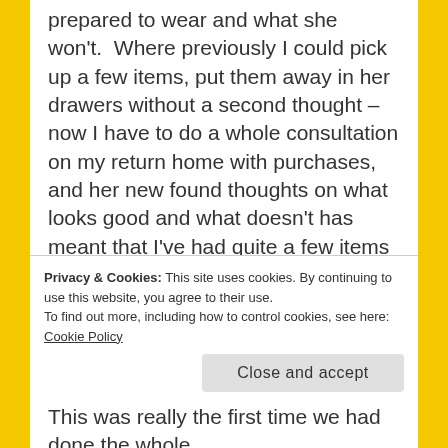prepared to wear and what she won't.  Where previously I could pick up a few items, put them away in her drawers without a second thought – now I have to do a whole consultation on my return home with purchases, and her new found thoughts on what looks good and what doesn't has meant that I've had quite a few items to return to shops. So, no more, if she wants to express her opinion, she has to come with me, choose her own and try them on in the shop.
This was really the first time we had done the whole
Privacy & Cookies: This site uses cookies. By continuing to use this website, you agree to their use.
To find out more, including how to control cookies, see here: Cookie Policy
Close and accept